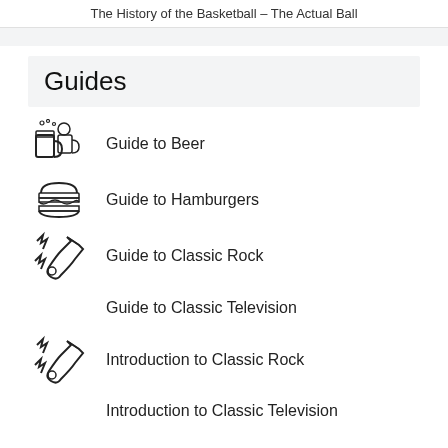The History of the Basketball – The Actual Ball
Guides
Guide to Beer
Guide to Hamburgers
Guide to Classic Rock
Guide to Classic Television
Introduction to Classic Rock
Introduction to Classic Television